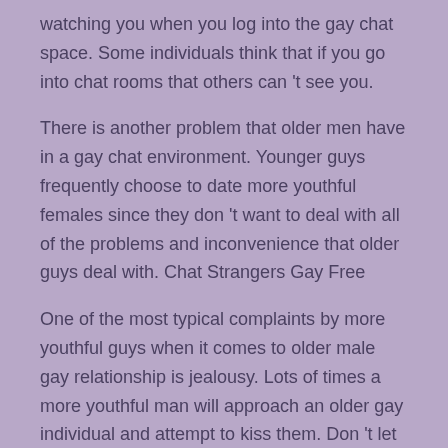watching you when you log into the gay chat space. Some individuals think that if you go into chat rooms that others can 't see you.
There is another problem that older men have in a gay chat environment. Younger guys frequently choose to date more youthful females since they don 't want to deal with all of the problems and inconvenience that older guys deal with. Chat Strangers Gay Free
One of the most typical complaints by more youthful guys when it comes to older male gay relationship is jealousy. Lots of times a more youthful man will approach an older gay individual and attempt to kiss them. Don 't let this take place due to the fact that you don 't want to live your life as a gay fan.
The last thing you require to understand about gay chat live roulette is that many males do not want to have a gay enthusiast.